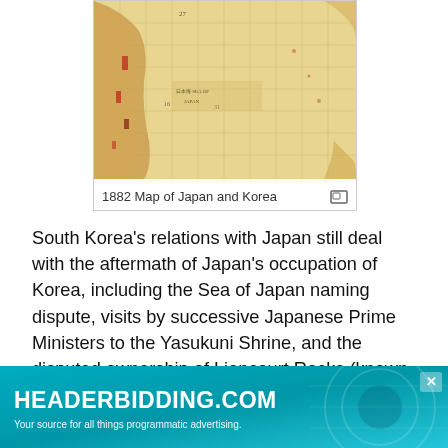[Figure (map): 1882 historical map of Japan and Korea, tan/beige colored with grid lines, showing coastlines and geographic features in brown and red tones]
1882 Map of Japan and Korea
South Korea's relations with Japan still deal with the aftermath of Japan's occupation of Korea, including the Sea of Japan naming dispute, visits by successive Japanese Prime Ministers to the Yasukuni Shrine, and the disputed ownership of Liancourt Rocks (known as Dokdo in South Korea. Takeshima in Japan). Since normalizing relations in 1965, Seoul and Tokyo have held annual foreign... status of the l... ent of textbooks dealing with the relationship, and Tokyo's
[Figure (other): Advertisement banner for HEADERBIDDING.COM with teal/cyan gradient background. Text reads 'HEADERBIDDING.COM' and 'Your source for all things programmatic advertising.']